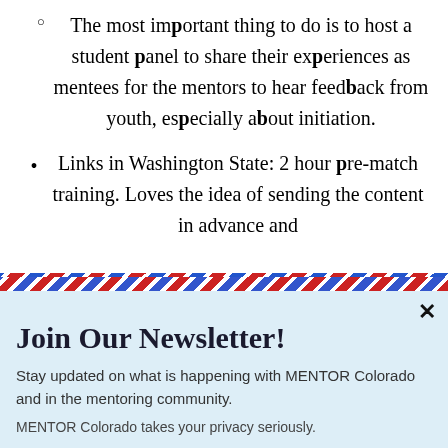The most important thing to do is to host a student panel to share their experiences as mentees for the mentors to hear feedback from youth, especially about initiation.
Links in Washington State: 2 hour pre-match training. Loves the idea of sending the content in advance and
Join Our Newsletter!
Stay updated on what is happening with MENTOR Colorado and in the mentoring community.
MENTOR Colorado takes your privacy seriously.